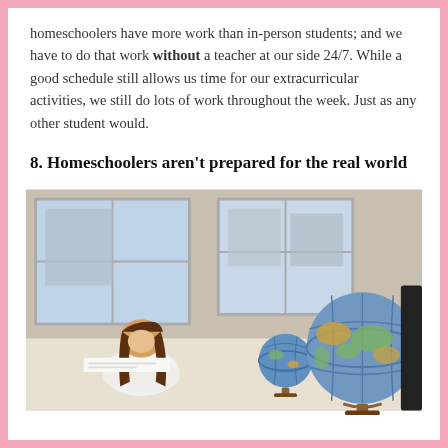homeschoolers have more work than in-person students; and we have to do that work without a teacher at our side 24/7. While a good schedule still allows us time for our extracurricular activities, we still do lots of work throughout the week. Just as any other student would.
8. Homeschoolers aren't prepared for the real world
[Figure (photo): A girl with long brown hair sits at a desk studying, with two globe models in the foreground and large windows behind showing a cityscape.]